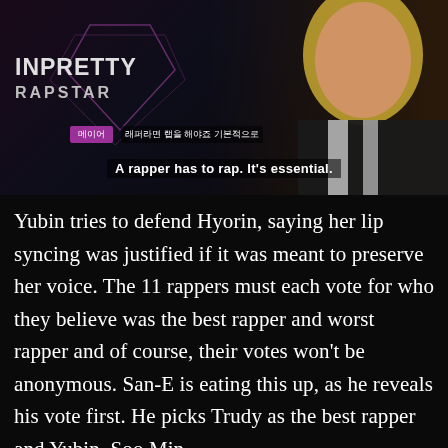[Figure (screenshot): Screenshot from the TV show 'Unpretty Rapstar' showing a blonde female rapper with subtitle text in Korean and English reading 'A rapper has to rap. It's essential.']
Yubin tries to defend Hyorin, saying her lip syncing was justified if it was meant to preserve her voice. The 11 rappers must each vote for who they believe was the best rapper and worst rapper and of course, their votes won't be anonymous. San-E is eating this up, as he reveals his vote first. He picks Trudy as the best rapper and Yubin, Soo Min,